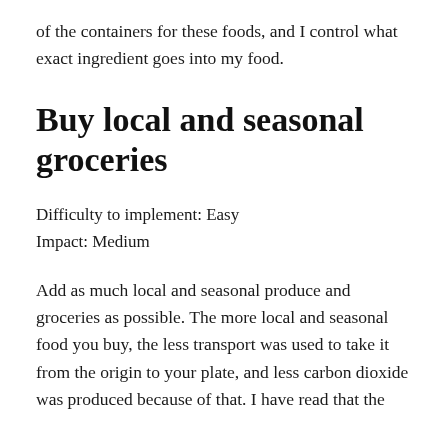of the containers for these foods, and I control what exact ingredient goes into my food.
Buy local and seasonal groceries
Difficulty to implement: Easy
Impact: Medium
Add as much local and seasonal produce and groceries as possible. The more local and seasonal food you buy, the less transport was used to take it from the origin to your plate, and less carbon dioxide was produced because of that. I have read that the